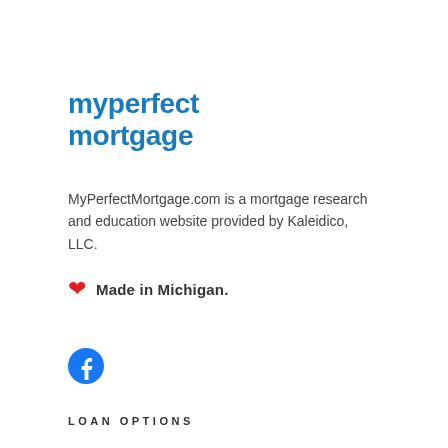myperfect mortgage
MyPerfectMortgage.com is a mortgage research and education website provided by Kaleidico, LLC.
❤ Made in Michigan.
[Figure (logo): Facebook social media icon - blue circle with white f]
LOAN OPTIONS